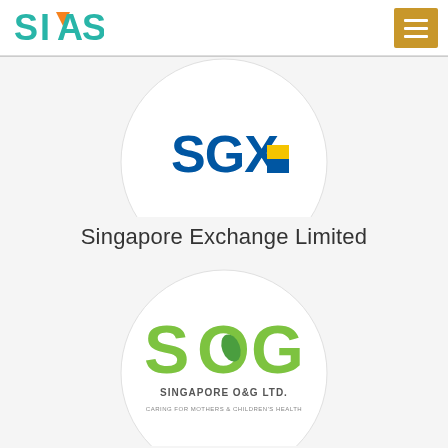SIAS
[Figure (logo): SGX (Singapore Exchange) logo in a circular frame, partially visible at top]
Singapore Exchange Limited
[Figure (logo): SOG Singapore O&G Ltd. logo in a circular frame with tagline 'Caring for mothers & children's health']